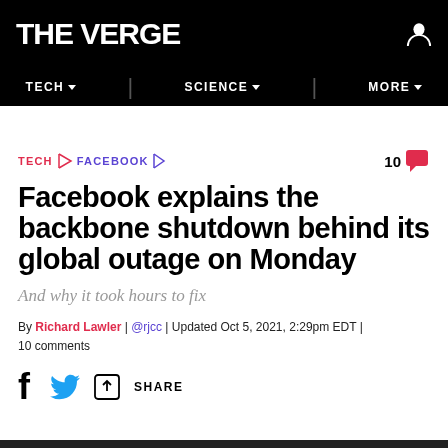THE VERGE
TECH / FACEBOOK
Facebook explains the backbone shutdown behind its global outage on Monday
And why it took hours to fix
By Richard Lawler | @rjcc | Updated Oct 5, 2021, 2:29pm EDT | 10 comments
SHARE